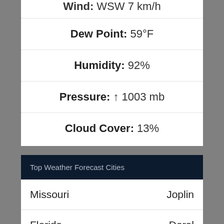Wind: WSW 7 km/h
Dew Point: 59°F
Humidity: 92%
Pressure: ↑ 1003 mb
Cloud Cover: 13%
Top Weather Forecast Cities
| State | City |
| --- | --- |
| Missouri | Joplin |
| Florida | Doral |
| Maryland | Frederick |